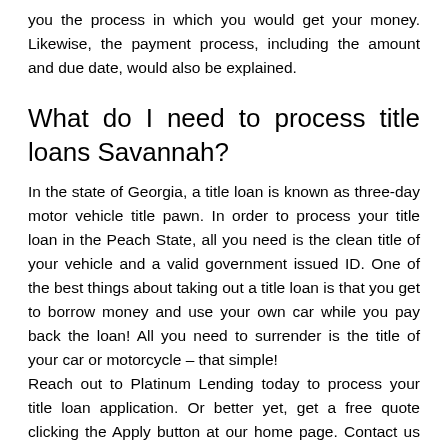you the process in which you would get your money. Likewise, the payment process, including the amount and due date, would also be explained.
What do I need to process title loans Savannah?
In the state of Georgia, a title loan is known as three-day motor vehicle title pawn. In order to process your title loan in the Peach State, all you need is the clean title of your vehicle and a valid government issued ID. One of the best things about taking out a title loan is that you get to borrow money and use your own car while you pay back the loan! All you need to surrender is the title of your car or motorcycle – that simple!
Reach out to Platinum Lending today to process your title loan application. Or better yet, get a free quote clicking the Apply button at our home page. Contact us now. Trust us—